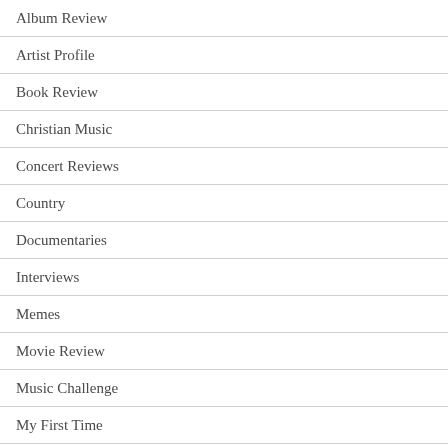Album Review
Artist Profile
Book Review
Christian Music
Concert Reviews
Country
Documentaries
Interviews
Memes
Movie Review
Music Challenge
My First Time
My Sunday Song